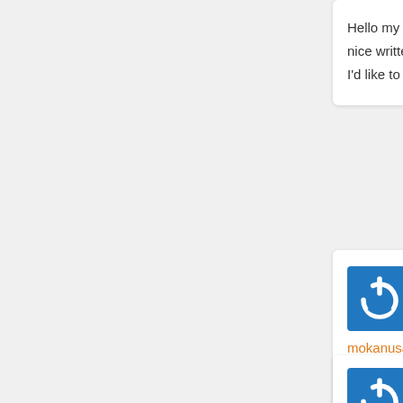Hello my loved one. I wrote this nice written article and I'd like to see
[Figure (logo): Blue square power button icon for mokanusa.com]
mokanusa.com
mokanusa.com balance of nat balance of nat balance of nat Gretta
[Figure (logo): Blue square power button icon (partially visible at bottom)]